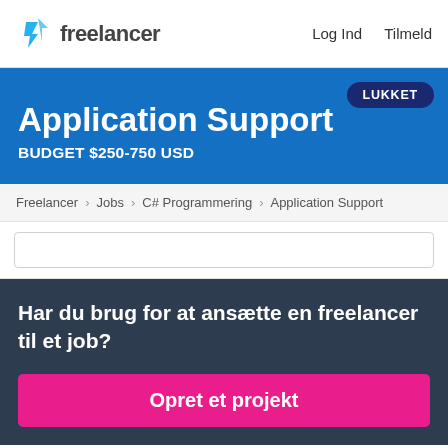freelancer  Log Ind  Tilmeld
Application Support
BUDGET $250-750 USD
LUKKET
Freelancer › Jobs › C# Programmering › Application Support
Har du brug for at ansætte en freelancer til et job?
Opret et projekt